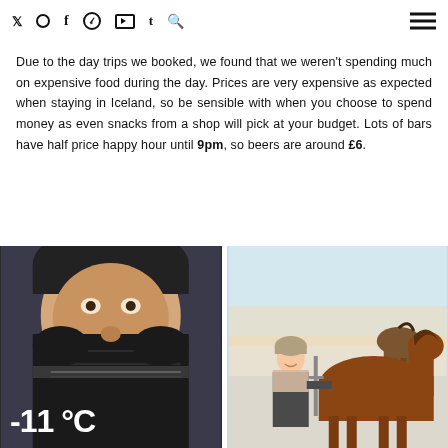Social media icons navigation bar with twitter, instagram, facebook, pinterest, youtube, tumblr, search icons and hamburger menu
Due to the day trips we booked, we found that we weren't spending much on expensive food during the day. Prices are very expensive as expected when staying in Iceland, so be sensible with when you choose to spend money as even snacks from a shop will pick at your budget. Lots of bars have half price happy hour until 9pm, so beers are around £6.
[Figure (photo): Close-up photo of a person wearing a dark winter hat and scarf/balaclava covering the lower face, with a temperature overlay showing -11°C]
[Figure (photo): Photo of a woman smiling, wearing a beanie and light scarf, standing next to an Icelandic horse in a snowy landscape]